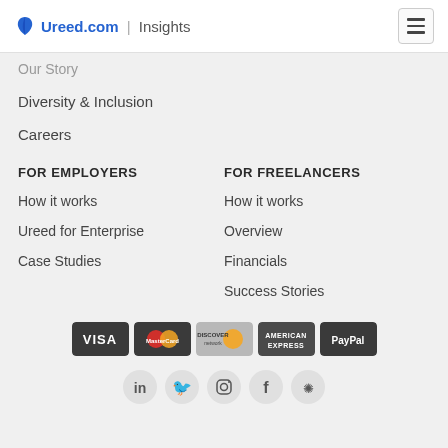Ureed.com | Insights
Our Story
Diversity & Inclusion
Careers
FOR EMPLOYERS
How it works
Ureed for Enterprise
Case Studies
FOR FREELANCERS
How it works
Overview
Financials
Success Stories
[Figure (other): Payment method icons: VISA, MasterCard, Discover, American Express, PayPal]
[Figure (other): Social media icons: LinkedIn, Twitter, Instagram, Facebook, Behance]